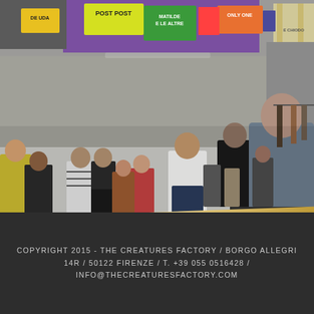[Figure (photo): A crowded indoor marketplace or trade fair with many people walking through aisles. Colorful banners and signage hang overhead including 'POST POST', 'MATILDE E LE ALTRE', 'ONLY ONE', and others. Clothing racks visible on the sides. Photo taken from slightly elevated perspective.]
COPYRIGHT 2015 - THE CREATURES FACTORY / BORGO ALLEGRI 14R / 50122 FIRENZE / T. +39 055 0516428 / INFO@THECREATURESFACTORY.COM